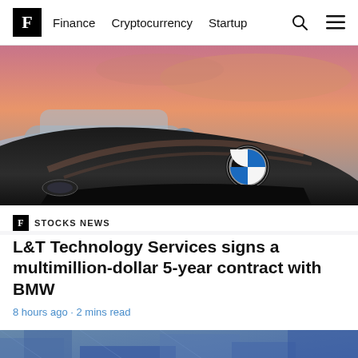F Finance Cryptocurrency Startup
[Figure (photo): Close-up photo of a black BMW car hood with the BMW logo badge visible, with another silver car in the background and a pink/orange sunset sky]
STOCKS NEWS
L&T Technology Services signs a multimillion-dollar 5-year contract with BMW
8 hours ago · 2 mins read
[Figure (photo): Partial view of a second article's hero image showing what appears to be a blue building/infrastructure]